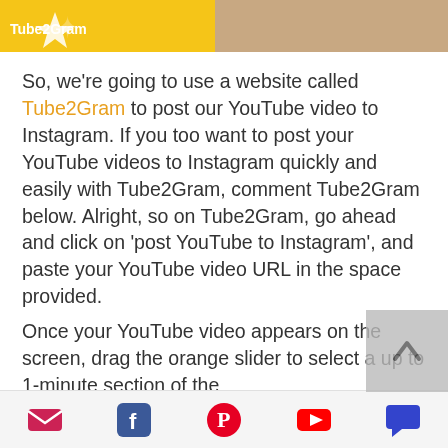[Figure (photo): Top banner image with yellow/gold background on the left with a star icon, and a photo of people on the right]
So, we're going to use a website called Tube2Gram to post our YouTube video to Instagram. If you too want to post your YouTube videos to Instagram quickly and easily with Tube2Gram, comment Tube2Gram below. Alright, so on Tube2Gram, go ahead and click on 'post YouTube to Instagram', and paste your YouTube video URL in the space provided.
Once your YouTube video appears on the screen, drag the orange slider to select a up to 1-minute section of the
email | facebook | pinterest | youtube | comment